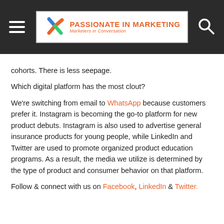Passionate in Marketing — Marketers in Conversation
cohorts. There is less seepage.
Which digital platform has the most clout?
We're switching from email to WhatsApp because customers prefer it. Instagram is becoming the go-to platform for new product debuts. Instagram is also used to advertise general insurance products for young people, while LinkedIn and Twitter are used to promote organized product education programs. As a result, the media we utilize is determined by the type of product and consumer behavior on that platform.
Follow & connect with us on Facebook, LinkedIn & Twitter.